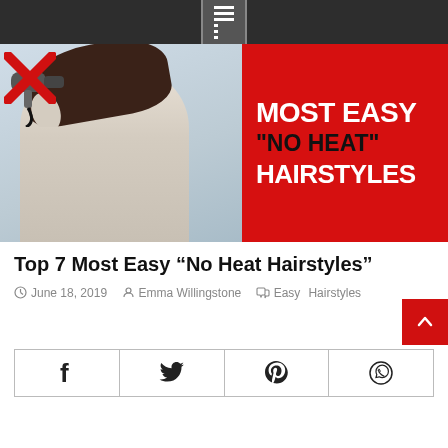Navigation menu bar
[Figure (photo): Hero image: woman in white robe holding hair dryer with a red X over it, next to a red panel with bold text reading MOST EASY "NO HEAT" HAIRSTYLES]
Top 7 Most Easy “No Heat Hairstyles”
June 18, 2019  Emma Willingstone  Easy Hairstyles
[Figure (other): Social share buttons row: Facebook, Twitter, Pinterest, WhatsApp]